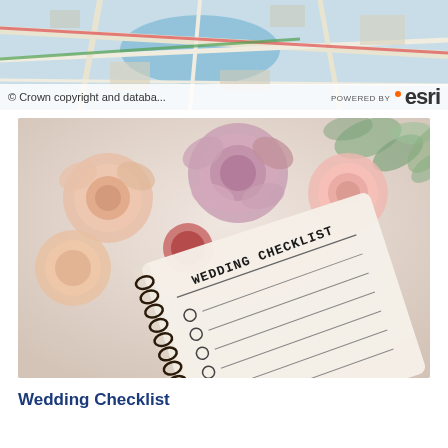[Figure (map): Street map background header showing urban streets and waterway, with Crown copyright notice and ESRI powered-by logo]
[Figure (photo): Photo of a spiral-bound Wedding Checklist notebook with empty checkbox lines, surrounded by pink and mauve roses and eucalyptus greenery]
Wedding Checklist